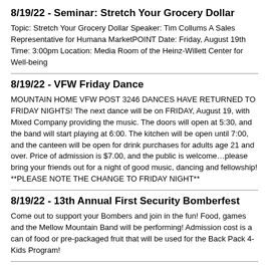8/19/22 - Seminar: Stretch Your Grocery Dollar
Topic: Stretch Your Grocery Dollar Speaker: Tim Collums A Sales Representative for Humana MarketPOINT Date: Friday, August 19th Time: 3:00pm Location: Media Room of the Heinz-Willett Center for Well-being
8/19/22 - VFW Friday Dance
MOUNTAIN HOME VFW POST 3246 DANCES HAVE RETURNED TO FRIDAY NIGHTS! The next dance will be on FRIDAY, August 19, with Mixed Company providing the music. The doors will open at 5:30, and the band will start playing at 6:00. The kitchen will be open until 7:00, and the canteen will be open for drink purchases for adults age 21 and over. Price of admission is $7.00, and the public is welcome…please bring your friends out for a night of good music, dancing and fellowship! **PLEASE NOTE THE CHANGE TO FRIDAY NIGHT**
8/19/22 - 13th Annual First Security Bomberfest
Come out to support your Bombers and join in the fun! Food, games and the Mellow Mountain Band will be performing! Admission cost is a can of food or pre-packaged fruit that will be used for the Back Pack 4-Kids Program!